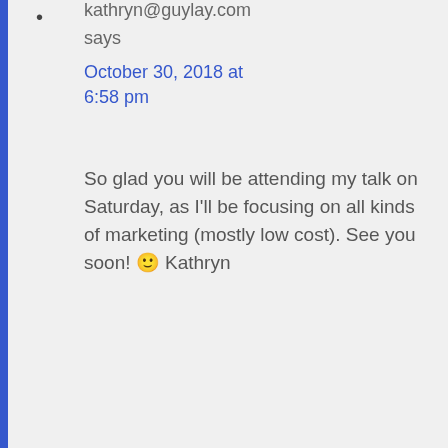kathryn@guylay.com says October 30, 2018 at 6:58 pm

So glad you will be attending my talk on Saturday, as I'll be focusing on all kinds of marketing (mostly low cost). See you soon! 🙂 Kathryn